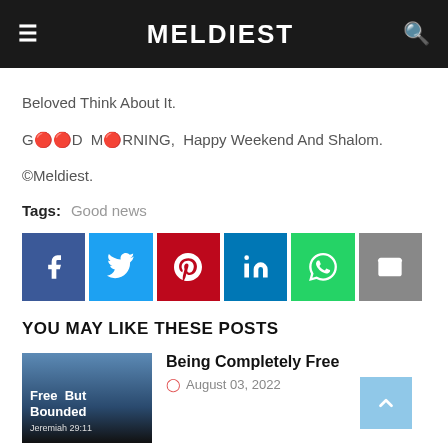MELDIEST
Beloved Think About It.
G🔴🔴D M🔴RNING, Happy Weekend And Shalom.
©Meldiest.
Tags:  Good news
[Figure (infographic): Social sharing buttons: Facebook (blue), Twitter (light blue), Pinterest (red), LinkedIn (dark blue), WhatsApp (green), Email (gray)]
YOU MAY LIKE THESE POSTS
[Figure (photo): Thumbnail image with mountain/sky background and text 'Free But Bounded']
Being Completely Free
August 03, 2022